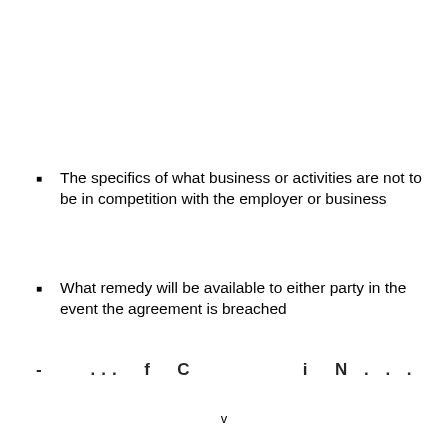The specifics of what business or activities are not to be in competition with the employer or business
What remedy will be available to either party in the event the agreement is breached
-   ...  f  C          i  N . . .
v